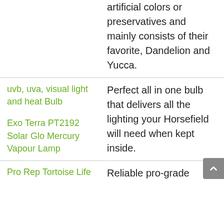artificial colors or preservatives and mainly consists of their favorite, Dandelion and Yucca.
uvb, uva, visual light and heat Bulb
[Figure (photo): Broken image placeholder for Exo Terra PT2192 Solar Glo Mercury Vapour Lamp]
Perfect all in one bulb that delivers all the lighting your Horsefield will need when kept inside.
Pro Rep Tortoise Life
Reliable pro-grade